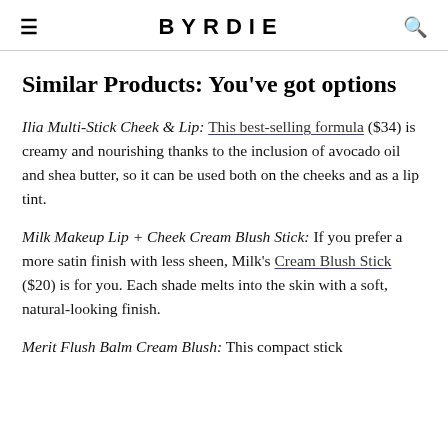≡  BYRDIE  🔍
Similar Products: You've got options
Ilia Multi-Stick Cheek & Lip: This best-selling formula ($34) is creamy and nourishing thanks to the inclusion of avocado oil and shea butter, so it can be used both on the cheeks and as a lip tint.
Milk Makeup Lip + Cheek Cream Blush Stick: If you prefer a more satin finish with less sheen, Milk's Cream Blush Stick ($20) is for you. Each shade melts into the skin with a soft, natural-looking finish.
Merit Flush Balm Cream Blush: This compact stick